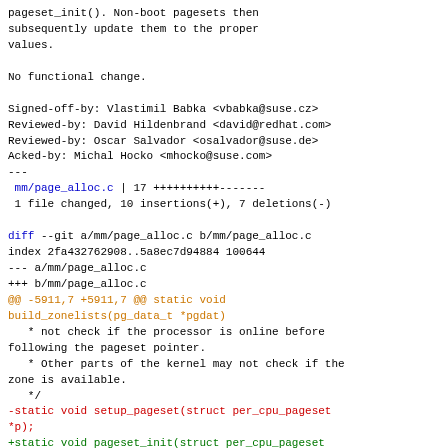pageset_init(). Non-boot pagesets then subsequently update them to the proper values.

No functional change.

Signed-off-by: Vlastimil Babka <vbabka@suse.cz>
Reviewed-by: David Hildenbrand <david@redhat.com>
Reviewed-by: Oscar Salvador <osalvador@suse.de>
Acked-by: Michal Hocko <mhocko@suse.com>
---
 mm/page_alloc.c | 17 ++++++++++-------
 1 file changed, 10 insertions(+), 7 deletions(-)

diff --git a/mm/page_alloc.c b/mm/page_alloc.c
index 2fa432762908..5a8ec7d94884 100644
--- a/mm/page_alloc.c
+++ b/mm/page_alloc.c
@@ -5911,7 +5911,7 @@ static void build_zonelists(pg_data_t *pgdat)
   * not check if the processor is online before following the pageset pointer.
   * Other parts of the kernel may not check if the zone is available.
   */
-static void setup_pageset(struct per_cpu_pageset *p);
+static void pageset_init(struct per_cpu_pageset *p);
 static DEFINE_PER_CPU(struct per_cpu_pageset.